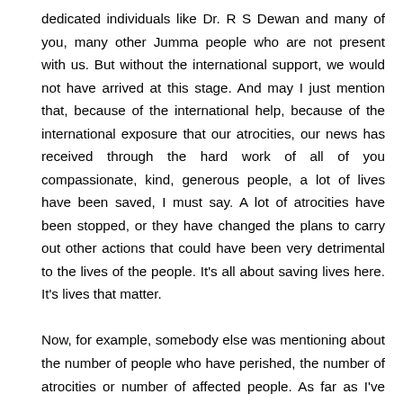dedicated individuals like Dr. R S Dewan and many of you, many other Jumma people who are not present with us. But without the international support, we would not have arrived at this stage. And may I just mention that, because of the international help, because of the international exposure that our atrocities, our news has received through the hard work of all of you compassionate, kind, generous people, a lot of lives have been saved, I must say. A lot of atrocities have been stopped, or they have changed the plans to carry out other actions that could have been very detrimental to the lives of the people. It's all about saving lives here. It's lives that matter.

Now, for example, somebody else was mentioning about the number of people who have perished, the number of atrocities or number of affected people. As far as I've read, for the moment the figure is between 8,500 to 10,000